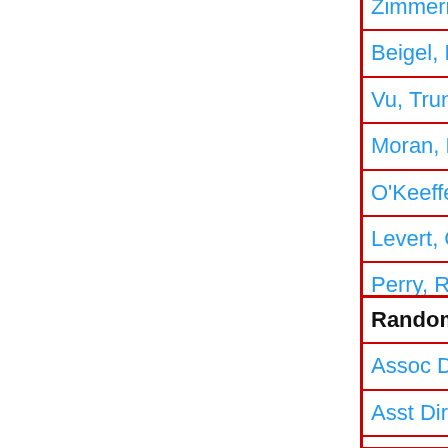Zimmerman, Luke Roger
Beigel, Margaret Mary
Vu, Trung Tri
Moran, Kenneth R.
O'Keeffe, Michael Oliver
Levert, Glenn Edward
Perry, Roslyn
Ginley, John Gordon
Random Titles from Ohio State University
Assoc Dir-Ambulatory Services
Asst Dir-Business Services